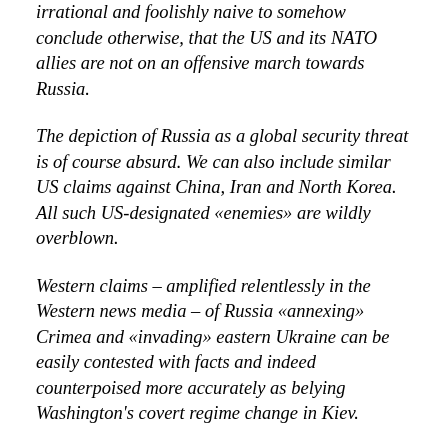irrational and foolishly naive to somehow conclude otherwise, that the US and its NATO allies are not on an offensive march towards Russia.
The depiction of Russia as a global security threat is of course absurd. We can also include similar US claims against China, Iran and North Korea. All such US-designated «enemies» are wildly overblown.
Western claims – amplified relentlessly in the Western news media – of Russia «annexing» Crimea and «invading» eastern Ukraine can be easily contested with facts and indeed counterpoised more accurately as belying Washington's covert regime change in Kiev.
Nevertheless, Western fear-mongering supported by unremitting media propaganda has to a degree succeeded in conflating these dubious claims into a bigger specter of